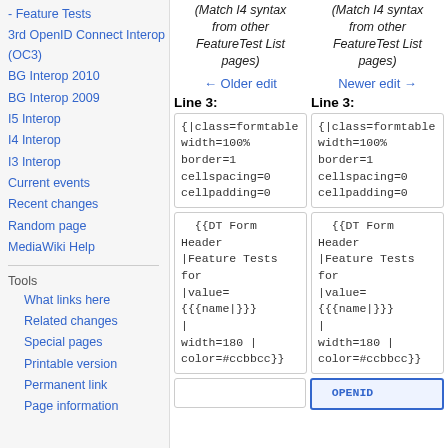- Feature Tests
3rd OpenID Connect Interop (OC3)
BG Interop 2010
BG Interop 2009
I5 Interop
I4 Interop
I3 Interop
Current events
Recent changes
Random page
MediaWiki Help
Tools
What links here
Related changes
Special pages
Printable version
Permanent link
Page information
(Match I4 syntax from other FeatureTest List pages)
← Older edit
(Match I4 syntax from other FeatureTest List pages)
Newer edit →
Line 3:
Line 3:
{|class=formtable
width=100%
border=1
cellspacing=0
cellpadding=0
{|class=formtable
width=100%
border=1
cellspacing=0
cellpadding=0
{{DT Form Header
|Feature Tests
for
|value=
{{{name|}}}
width=180 |
color=#ccbbcc}}
{{DT Form Header
|Feature Tests
for
|value=
{{{name|}}}
width=180 |
color=#ccbbcc}}